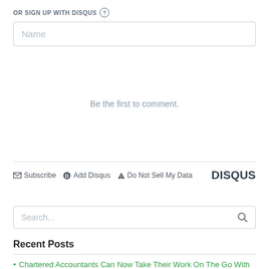OR SIGN UP WITH DISQUS ?
[Figure (screenshot): Name text input field with rounded border]
Be the first to comment.
[Figure (screenshot): Disqus footer bar with Subscribe, Add Disqus, Do Not Sell My Data links and DISQUS brand]
[Figure (screenshot): Search input box with search icon]
Recent Posts
Chartered Accountants Can Now Take Their Work On The Go With New Online Tools